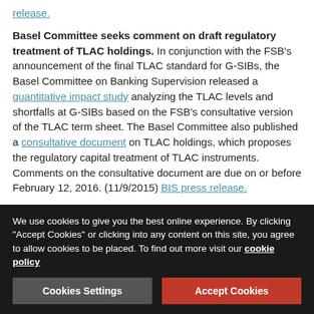release.
Basel Committee seeks comment on draft regulatory treatment of TLAC holdings. In conjunction with the FSB's announcement of the final TLAC standard for G-SIBs, the Basel Committee on Banking Supervision released a quantitative impact study analyzing the TLAC levels and shortfalls at G-SIBs based on the FSB's consultative version of the TLAC term sheet. The Basel Committee also published a consultative document on TLAC holdings, which proposes the regulatory capital treatment of TLAC instruments. Comments on the consultative document are due on or before February 12, 2016. (11/9/2015) BIS press release.
FSB report on implementation of G20 financial regulatory reforms. The FSB published its first annual report to the G20 regarding the implementation and effects of the G20 financial
We use cookies to give you the best online experience. By clicking "Accept Cookies" or clicking into any content on this site, you agree to allow cookies to be placed. To find out more visit our cookie policy